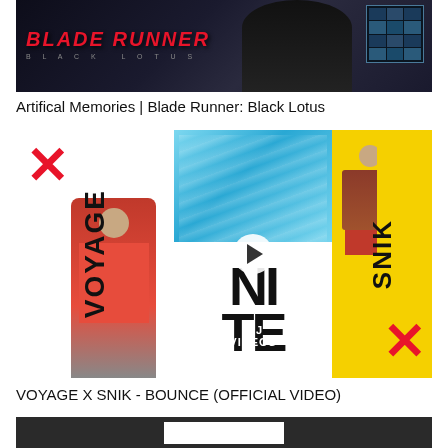[Figure (screenshot): Video thumbnail for Blade Runner: Black Lotus - Artificial Memories. Dark sci-fi themed thumbnail with red Blade Runner logo text and blue/dark background with monitor display elements.]
Artifical Memories | Blade Runner: Black Lotus
[Figure (screenshot): Video thumbnail for VOYAGE X SNIK - BOUNCE (OFFICIAL VIDEO). Shows two people on a colorful background with VOYAGE text on the left (white section with red X), bounce letters in the middle (blue pool water background), and SNIK text on right (yellow section with red X). IDJ Videos watermark visible. Play button overlay in center.]
VOYAGE X SNIK - BOUNCE (OFFICIAL VIDEO)
[Figure (screenshot): Partial view of a third video thumbnail with dark gray background and white rectangle element.]